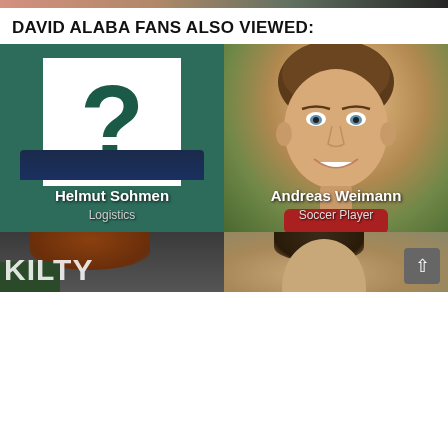[Figure (photo): Top strip showing partial photo (cropped heads/shoulders at top of page)]
DAVID ALABA FANS ALSO VIEWED:
[Figure (illustration): Card for Helmut Sohmen — teal background with white question mark box covering face, name 'Helmut Sohmen', role 'Logistics']
[Figure (photo): Card for Andreas Weimann — photo of young smiling man with short brown hair on green/nature background, name 'Andreas Weimann', role 'Soccer Player']
[Figure (photo): Bottom left card — partial view of person with brown hair, green/dark background with KILTY text visible]
[Figure (photo): Bottom right card — partial view of person's face/head, light brown background, scroll-to-top button in corner]